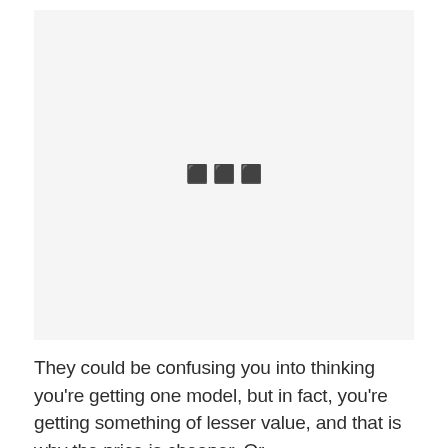[Figure (photo): A large light gray rectangular image placeholder area, nearly empty, with a very faint small icon or watermark visible near the center.]
They could be confusing you into thinking you're getting one model, but in fact, you're getting something of lesser value, and that is why the price is cheaper. Or